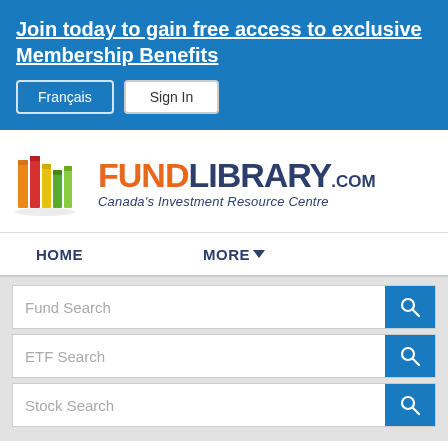Join today to gain free access to exclusive Membership Benefits
Français
Sign In
[Figure (logo): FundLibrary.com logo with colorful books icon and text 'FUNDLIBRARY.COM Canada's Investment Resource Centre']
HOME
MORE▾
Fund Search
ETF Search
Stock Search